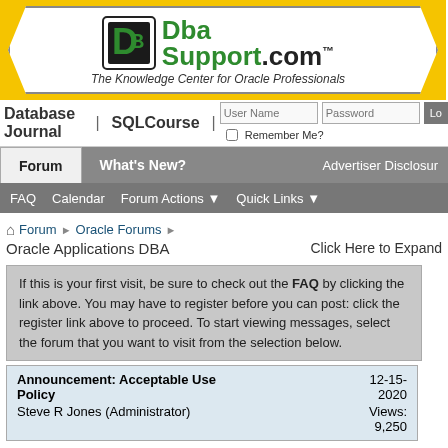[Figure (logo): DbaSupport.com logo on yellow background with tagline 'The Knowledge Center for Oracle Professionals']
Database Journal | SQLCourse | User Name  Password  Lo  Remember Me?
Forum  What's New?  Advertiser Disclosure
FAQ  Calendar  Forum Actions  Quick Links
Forum > Oracle Forums > Oracle Applications DBA
Click Here to Expand
If this is your first visit, be sure to check out the FAQ by clicking the link above. You may have to register before you can post: click the register link above to proceed. To start viewing messages, select the forum that you want to visit from the selection below.
| Announcement | Date/Views |
| --- | --- |
| Announcement: Acceptable Use Policy
Steve R Jones (Administrator) | 12-15-2020
Views:
9,250 |